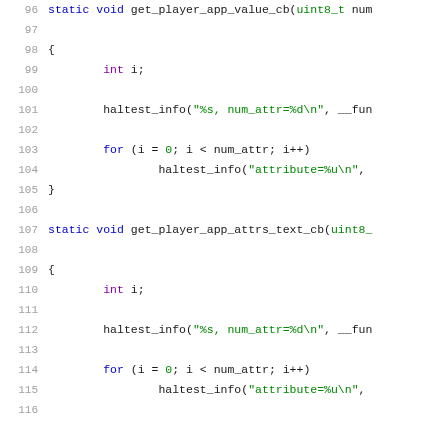[Figure (screenshot): Source code listing showing C functions get_player_app_value_cb and get_player_app_attrs_text_cb with line numbers 96–116, displayed in a code editor with syntax highlighting.]